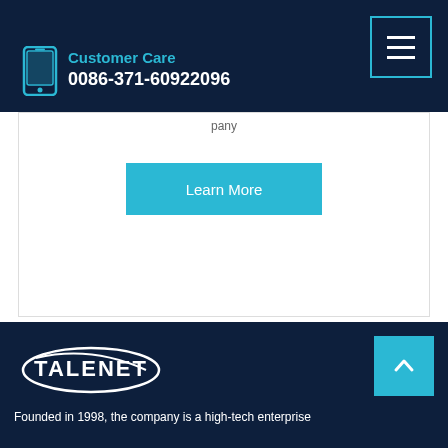Customer Care 0086-371-60922096
...pany...
Learn More
[Figure (logo): TALENET company logo with white swoosh oval and bold white text on dark navy background]
Founded in 1998, the company is a high-tech enterprise